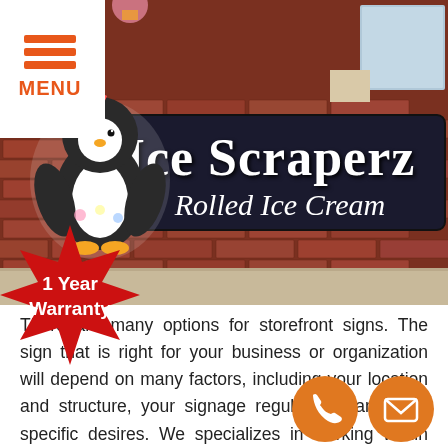[Figure (photo): Storefront sign for 'Ice Scraperz Rolled Ice Cream' shop on a brick building wall, featuring a penguin mascot logo.]
There are many options for storefront signs. The sign that is right for your business or organization will depend on many factors, including your location and structure, your signage regulations, and your specific desires. We specializes in working within these parameters to provide you with the appropriate options for your storefront signage. Once production is complete, our expert installers properly secure your sign and ensure all